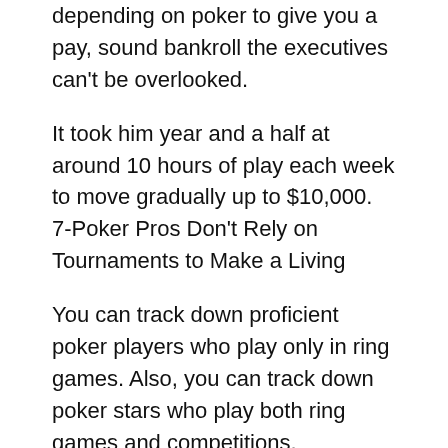depending on poker to give you a pay, sound bankroll the executives can't be overlooked.
It took him year and a half at around 10 hours of play each week to move gradually up to $10,000. 7-Poker Pros Don't Rely on Tournaments to Make a Living
You can track down proficient poker players who play only in ring games. Also, you can track down poker stars who play both ring games and competitions.
What you don't find are poker experts who play only in high purchase in competitions.
Dan Harrington, the creator of Harrington on